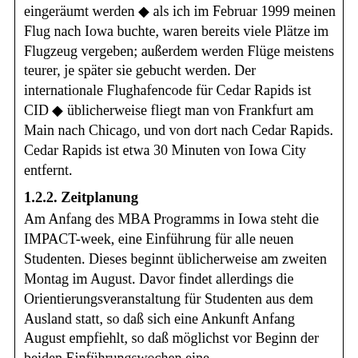eingeräumt werden ◆ als ich im Februar 1999 meinen Flug nach Iowa buchte, waren bereits viele Plätze im Flugzeug vergeben; außerdem werden Flüge meistens teurer, je später sie gebucht werden. Der internationale Flughafencode für Cedar Rapids ist CID ◆ üblicherweise fliegt man von Frankfurt am Main nach Chicago, und von dort nach Cedar Rapids. Cedar Rapids ist etwa 30 Minuten von Iowa City entfernt.
1.2.2. Zeitplanung
Am Anfang des MBA Programms in Iowa steht die IMPACT-week, eine Einführung für alle neuen Studenten. Dieses beginnt üblicherweise am zweiten Montag im August. Davor findet allerdings die Orientierungsveranstaltung für Studenten aus dem Ausland statt, so daß sich eine Ankunft Anfang August empfiehlt, so daß möglichst vor Beginn der beiden Einführungswochen eine